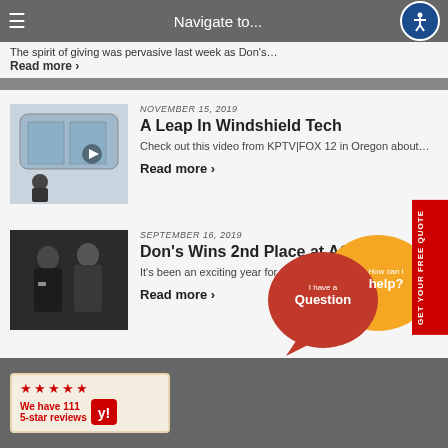Navigate to...
The spirit of giving was pervasive last week as Don's…
Read more ›
[Figure (photo): Thumbnail of windshield evolution video]
NOVEMBER 15, 2019
A Leap In Windshield Tech
Check out this video from KPTV|FOX 12 in Oregon about…
Read more ›
[Figure (photo): Two auto glass technicians standing together at AGTO event]
SEPTEMBER 16, 2019
Don's Wins 2nd Place at AGTO®
It's been an exciting year for the auto glass industry…
Read more ›
[Figure (infographic): Orange and red chat bubbles: I have a Question / How can I help?]
We have 111 5-star reviews (Yelp)